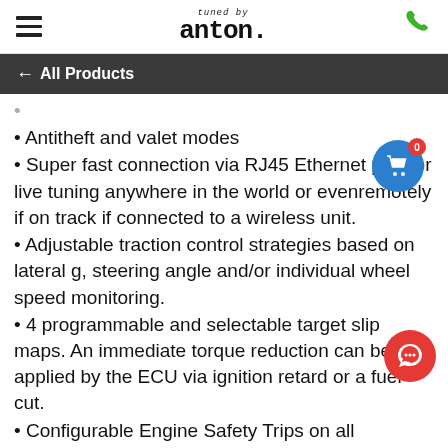tuned by anton
← All Products
Antitheft and valet modes
Super fast connection via RJ45 Ethernet port for live tuning anywhere in the world or evenremotely if on track if connected to a wireless unit.
Adjustable traction control strategies based on lateral g, steering angle and/or individual wheel speed monitoring.
4 programmable and selectable target slip maps. An immediate torque reduction can be applied by the ECU via ignition retard or a fuel cut.
Configurable Engine Safety Trips on all important parameters like oil temperature, oil pressure.